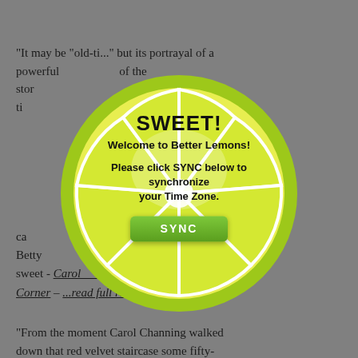"It may be "old-ti..." but its portrayal of a powerful ... of the story... ti...
[Figure (illustration): A lemon slice graphic (round, yellow-green with white segments) overlaid on the page, containing a popup dialog with text: SWEET! Welcome to Better Lemons! Please click SYNC below to synchronize your Time Zone. A green SYNC button is shown below the text.]
ca... Betty...
sweet - Carol... Carol's Culture Corner - ...read full review
"From the moment Carol Channing walked down that red velvet staircase some fifty-five years ago, there's scarcely been a role